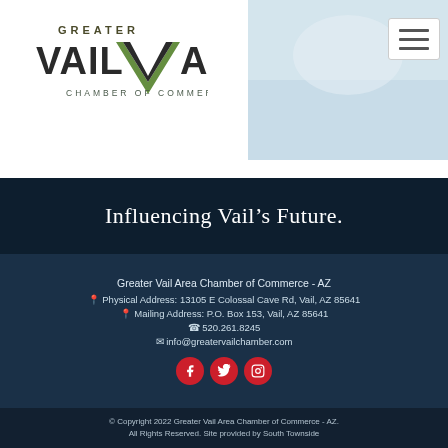[Figure (logo): Greater Vail Area Chamber of Commerce logo with stylized V and text]
[Figure (photo): Hero image on right side of header, light blue/white tones]
Influencing Vail's Future.
Greater Vail Area Chamber of Commerce - AZ
Physical Address: 13105 E Colossal Cave Rd, Vail, AZ 85641
Mailing Address: P.O. Box 153, Vail, AZ 85641
520.261.8245
info@greatervailchamber.com
[Figure (infographic): Three red circular social media icons: Facebook, Twitter, Instagram]
© Copyright 2022 Greater Vail Area Chamber of Commerce - AZ. All Rights Reserved. Site provided by South Townside